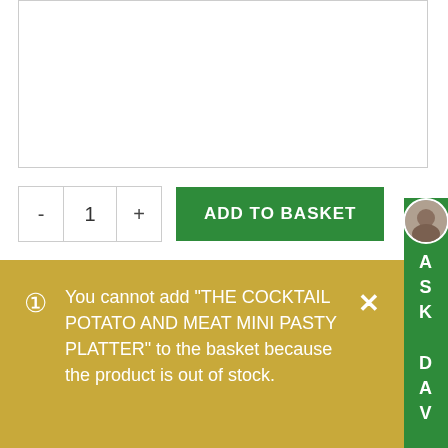[Figure (other): White image placeholder box with border]
[Figure (screenshot): Quantity control with minus, 1, plus buttons and green ADD TO BASKET button]
Add to wishlist
[Figure (screenshot): Green sidebar with avatar photo and ASK DAV text]
You cannot add "THE COCKTAIL POTATO AND MEAT MINI PASTY PLATTER" to the basket because the product is out of stock.